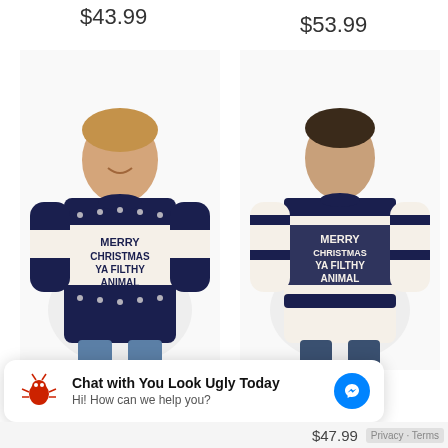$43.99
$53.99
[Figure (photo): Man wearing a navy and white Christmas sweater with text MERRY CHRISTMAS YA FILTHY ANIMAL with Nordic/Fair Isle pattern]
[Figure (photo): Man wearing a navy and cream Fair Isle Christmas sweater with text MERRY CHRISTMAS YA FILTHY ANIMAL]
Classic Novelty Men's
Fair Isle Rude Slogan
Chat with You Look Ugly Today
Hi! How can we help you?
$47.99
Privacy · Terms